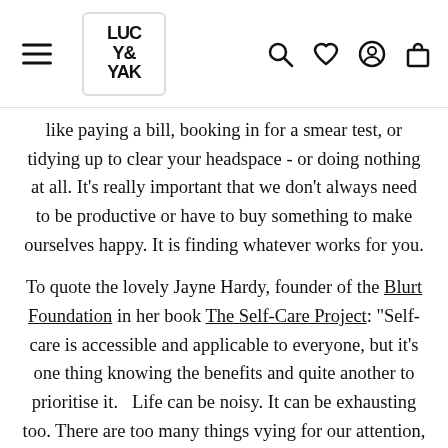Lucy & Yak logo with navigation icons (hamburger menu, search, wishlist, account, cart)
like paying a bill, booking in for a smear test, or tidying up to clear your headspace - or doing nothing at all. It's really important that we don't always need to be productive or have to buy something to make ourselves happy. It is finding whatever works for you.
To quote the lovely Jayne Hardy, founder of the Blurt Foundation in her book The Self-Care Project: "Self-care is accessible and applicable to everyone, but it's one thing knowing the benefits and quite another to prioritise it.   Life can be noisy. It can be exhausting too. There are too many things vying for our attention, and sometimes we inadvertently forget how important our wellbeing is. We forget what it is that